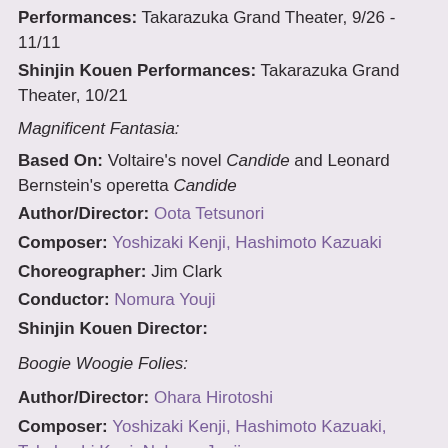Performances: Takarazuka Grand Theater, 9/26 - 11/11
Shinjin Kouen Performances: Takarazuka Grand Theater, 10/21
Magnificent Fantasia:
Based On: Voltaire's novel Candide and Leonard Bernstein's operetta Candide
Author/Director: Oota Tetsunori
Composer: Yoshizaki Kenji, Hashimoto Kazuaki
Choreographer: Jim Clark
Conductor: Nomura Youji
Shinjin Kouen Director:
Boogie Woogie Folies:
Author/Director: Ohara Hirotoshi
Composer: Yoshizaki Kenji, Hashimoto Kazuaki, Takahashi Kuni, Nakano Junji